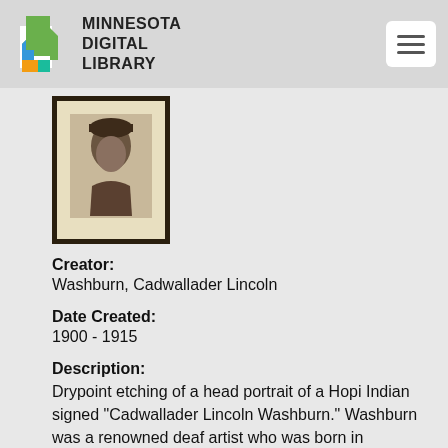[Figure (logo): Minnesota Digital Library logo with Minnesota state shape in green/blue/orange colors and bold text]
[Figure (photo): Framed drypoint etching of a head portrait of a Hopi Indian]
Creator:
Washburn, Cadwallader Lincoln
Date Created:
1900 - 1915
Description:
Drypoint etching of a head portrait of a Hopi Indian signed "Cadwallader Lincoln Washburn." Washburn was a renowned deaf artist who was born in Minneapolis, Minnesota, and graduated from the Minnesota Institute for the Deaf, Dumb and Blind